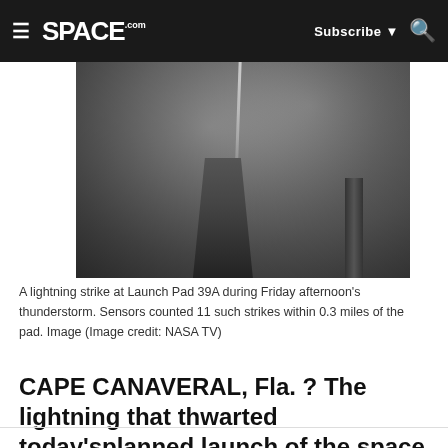SPACE.com — Subscribe | Search
[Figure (photo): Black and white photograph of a lightning strike at Launch Pad 39A during a thunderstorm. A bright lightning bolt is visible near the launch pad tower structure, with a second communications tower on the right side. The scene is dark and stormy.]
A lightning strike at Launch Pad 39A during Friday afternoon's thunderstorm. Sensors counted 11 such strikes within 0.3 miles of the pad. Image (Image credit: NASA TV)
CAPE CANAVERAL, Fla. ? The lightning that thwarted today'splanned launch of the space shuttle